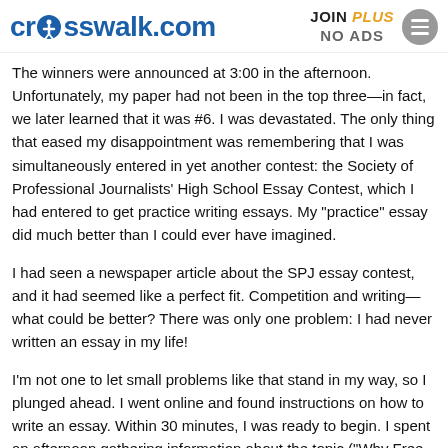crosswalk.com | JOIN PLUS NO ADS
The winners were announced at 3:00 in the afternoon. Unfortunately, my paper had not been in the top three—in fact, we later learned that it was #6. I was devastated. The only thing that eased my disappointment was remembering that I was simultaneously entered in yet another contest: the Society of Professional Journalists' High School Essay Contest, which I had entered to get practice writing essays. My "practice" essay did much better than I could ever have imagined.
I had seen a newspaper article about the SPJ essay contest, and it had seemed like a perfect fit. Competition and writing—what could be better? There was only one problem: I had never written an essay in my life!
I'm not one to let small problems like that stand in my way, so I plunged ahead. I went online and found instructions on how to write an essay. Within 30 minutes, I was ready to begin. I spent an afternoon gathering information about the topic ("Why Free News Media Are Important") and